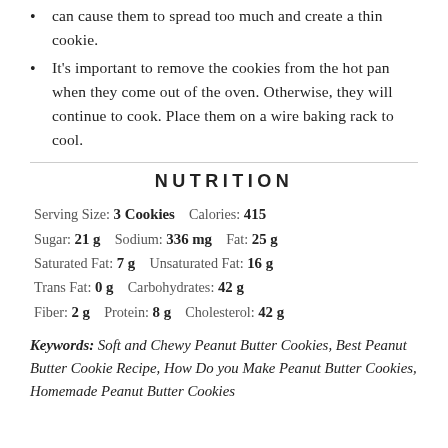can cause them to spread too much and create a thin cookie.
It's important to remove the cookies from the hot pan when they come out of the oven. Otherwise, they will continue to cook. Place them on a wire baking rack to cool.
NUTRITION
Serving Size: 3 Cookies    Calories: 415
Sugar: 21 g    Sodium: 336 mg    Fat: 25 g
Saturated Fat: 7 g    Unsaturated Fat: 16 g
Trans Fat: 0 g    Carbohydrates: 42 g
Fiber: 2 g    Protein: 8 g    Cholesterol: 42 g
Keywords: Soft and Chewy Peanut Butter Cookies, Best Peanut Butter Cookie Recipe, How Do you Make Peanut Butter Cookies, Homemade Peanut Butter Cookies